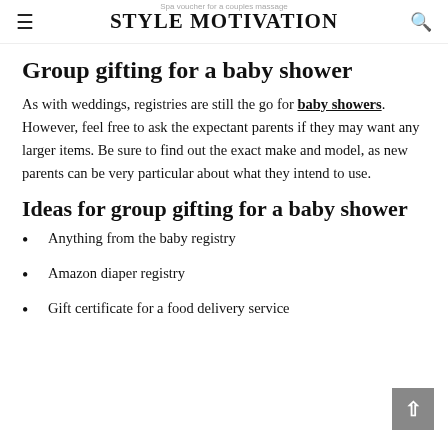STYLE MOTIVATION
Group gifting for a baby shower
As with weddings, registries are still the go for baby showers. However, feel free to ask the expectant parents if they may want any larger items. Be sure to find out the exact make and model, as new parents can be very particular about what they intend to use.
Ideas for group gifting for a baby shower
Anything from the baby registry
Amazon diaper registry
Gift certificate for a food delivery service